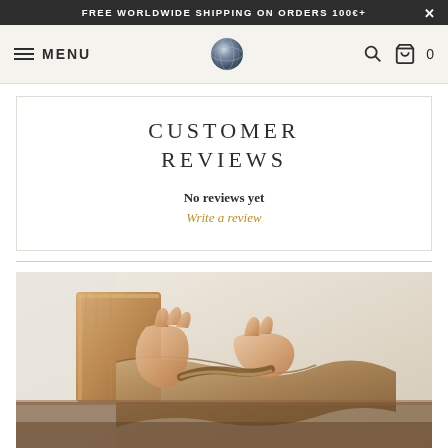FREE WORLDWIDE SHIPPING ON ORDERS 100€+ ×
MENU | [globe logo] | [search icon] | [cart icon] 0
CUSTOMER REVIEWS
No reviews yet
Write a review
[Figure (photo): Close-up photo of hands crafting or working with wood and leather material, showing artisan craft work with a wooden block and leather/fabric material being shaped or cut.]